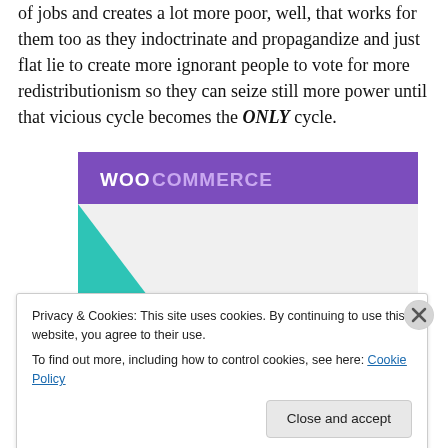of jobs and creates a lot more poor, well, that works for them too as they indoctrinate and propagandize and just flat lie to create more ignorant people to vote for more redistributionism so they can seize still more power until that vicious cycle becomes the ONLY cycle.
[Figure (illustration): WooCommerce advertisement banner showing 'How to start selling subscriptions online' with purple top bar showing WooCommerce logo, teal triangle shape on left, cyan arc on right, on a light grey background.]
Privacy & Cookies: This site uses cookies. By continuing to use this website, you agree to their use.
To find out more, including how to control cookies, see here: Cookie Policy
Close and accept